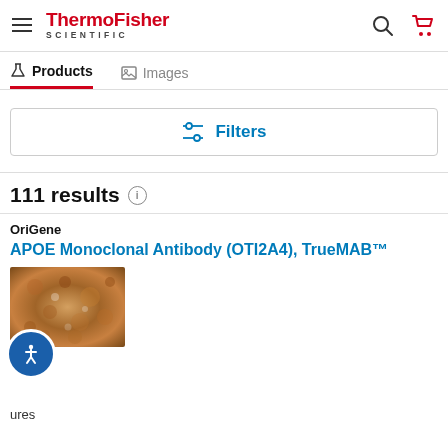ThermoFisher SCIENTIFIC
Products | Images
Filters
111 results
OriGene
APOE Monoclonal Antibody (OTI2A4), TrueMAB™
[Figure (photo): Microscopy image showing tissue staining, brown/tan coloration indicative of immunohistochemistry staining for APOE antibody]
ures